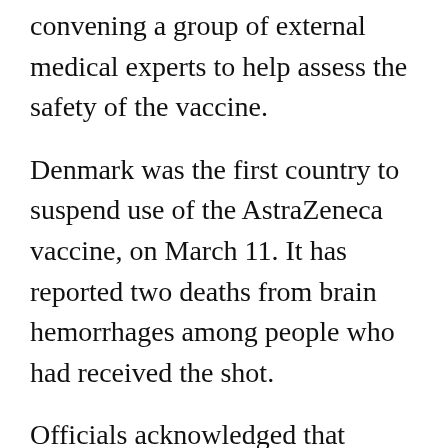The agency announced on Thursday that it was convening a group of external medical experts to help assess the safety of the vaccine.
Denmark was the first country to suspend use of the AstraZeneca vaccine, on March 11. It has reported two deaths from brain hemorrhages among people who had received the shot.
Officials acknowledged that continuing the suspension would lead to delays in the vaccination process.
"We are very conscious that a continued hold on vaccination with the Covid-19 vaccine from AstraZeneca delays the Danish vaccination program," Mr. Brostrom said. "However, the vaccines are already in the refrigerator. If we decide to